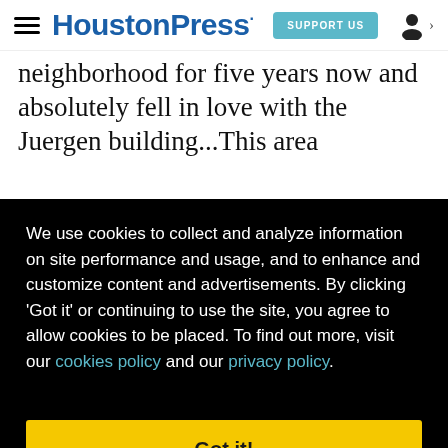HoustonPress | SUPPORT US
neighborhood for five years now and absolutely fell in love with the Juergen building...This area
We use cookies to collect and analyze information on site performance and usage, and to enhance and customize content and advertisements. By clicking 'Got it' or continuing to use the site, you agree to allow cookies to be placed. To find out more, visit our cookies policy and our privacy policy.
Got it!